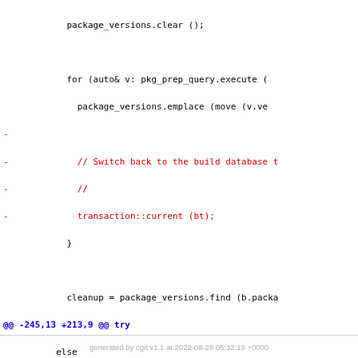Code diff showing package_versions, transaction, commit changes
generated by cgit v1.1 at 2022-08-28 05:32:19 +0000